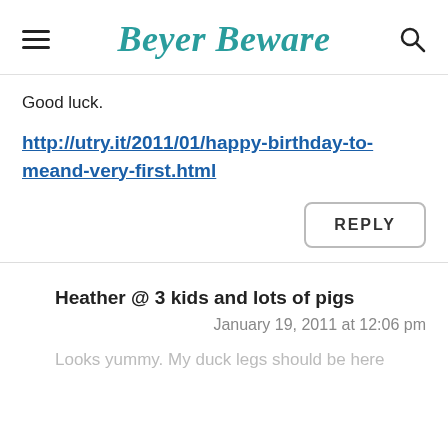Beyer Beware
Good luck.
http://utry.it/2011/01/happy-birthday-to-meand-very-first.html
REPLY
Heather @ 3 kids and lots of pigs
January 19, 2011 at 12:06 pm
Looks yummy. My duck legs should be here